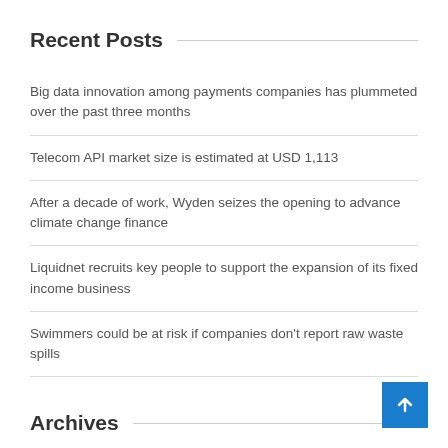Recent Posts
Big data innovation among payments companies has plummeted over the past three months
Telecom API market size is estimated at USD 1,113
After a decade of work, Wyden seizes the opening to advance climate change finance
Liquidnet recruits key people to support the expansion of its fixed income business
Swimmers could be at risk if companies don't report raw waste spills
Archives
August 2022